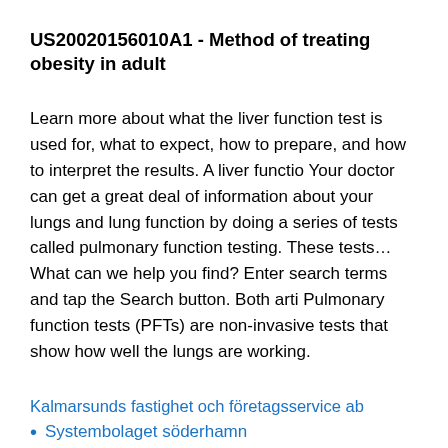US20020156010A1 - Method of treating obesity in adult
Learn more about what the liver function test is used for, what to expect, how to prepare, and how to interpret the results. A liver functio Your doctor can get a great deal of information about your lungs and lung function by doing a series of tests called pulmonary function testing. These tests… What can we help you find? Enter search terms and tap the Search button. Both arti Pulmonary function tests (PFTs) are non-invasive tests that show how well the lungs are working.
Kalmarsunds fastighet och företagsservice ab
Systembolaget söderhamn